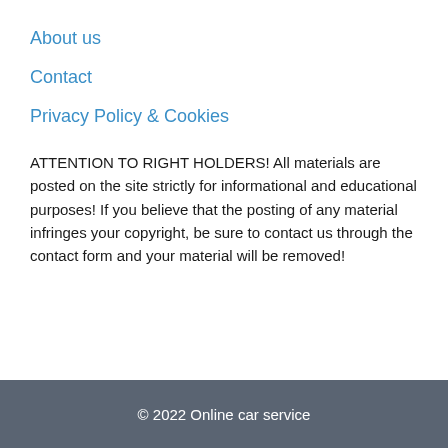About us
Contact
Privacy Policy & Cookies
ATTENTION TO RIGHT HOLDERS! All materials are posted on the site strictly for informational and educational purposes! If you believe that the posting of any material infringes your copyright, be sure to contact us through the contact form and your material will be removed!
© 2022 Online car service